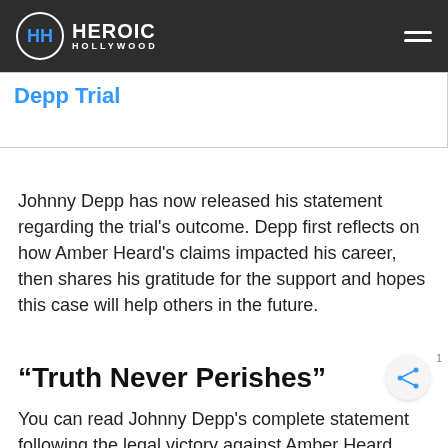HEROIC HOLLYWOOD
Depp Trial
Johnny Depp has now released his statement regarding the trial's outcome. Depp first reflects on how Amber Heard's claims impacted his career, then shares his gratitude for the support and hopes this case will help others in the future.
“Truth Never Perishes”
You can read Johnny Depp's complete statement following the legal victory against Amber Heard below.